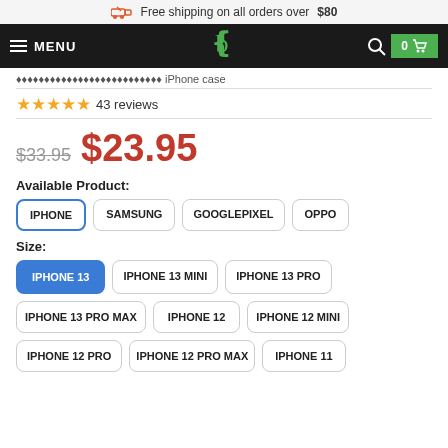Free shipping on all orders over $80
MENU | [logo] | 0 [cart]
...product title partial...
★★★★★ 43 reviews
$33.95  $23.95
Available Product:
IPHONE
SAMSUNG
GOOGLEPIXEL
OPPO
Size:
IPHONE 13
IPHONE 13 MINI
IPHONE 13 PRO
IPHONE 13 PRO MAX
IPHONE 12
IPHONE 12 MINI
IPHONE 12 PRO
IPHONE 12 PRO MAX
IPHONE 11